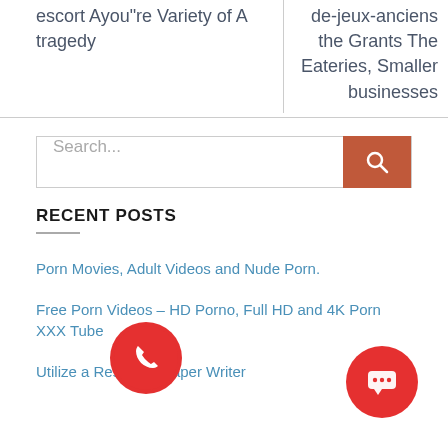escort Ayou"re Variety of A tragedy
de-jeux-anciens the Grants The Eateries, Smaller businesses
Porn Movies, Adult Videos and Nude Porn.
Free Porn Videos – HD Porno, Full HD and 4K Porn XXX Tube
Utilize a Research Paper Writer